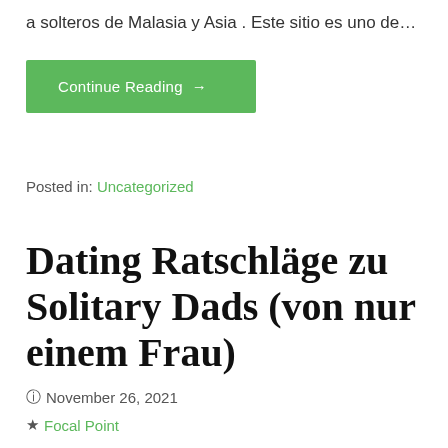a solteros de Malasia y Asia . Este sitio es uno de…
Continue Reading →
Posted in: Uncategorized
Dating Ratschläge zu Solitary Dads (von nur einem Frau)
November 26, 2021
Focal Point